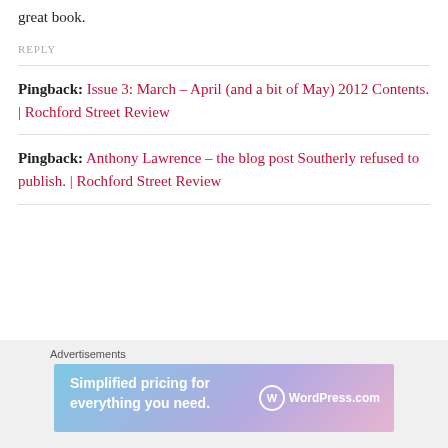great book.
REPLY
Pingback: Issue 3: March – April (and a bit of May) 2012 Contents. | Rochford Street Review
Pingback: Anthony Lawrence – the blog post Southerly refused to publish. | Rochford Street Review
[Figure (screenshot): WordPress.com advertisement banner: 'Simplified pricing for everything you need.' with WordPress.com logo on gradient blue-purple-pink background.]